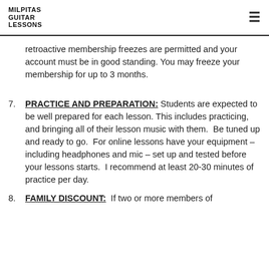MILPITAS GUITAR LESSONS
retroactive membership freezes are permitted and your account must be in good standing. You may freeze your membership for up to 3 months.
7. PRACTICE AND PREPARATION: Students are expected to be well prepared for each lesson. This includes practicing, and bringing all of their lesson music with them.  Be tuned up and ready to go.  For online lessons have your equipment – including headphones and mic – set up and tested before your lessons starts.  I recommend at least 20-30 minutes of practice per day.
8. FAMILY DISCOUNT: If two or more members of